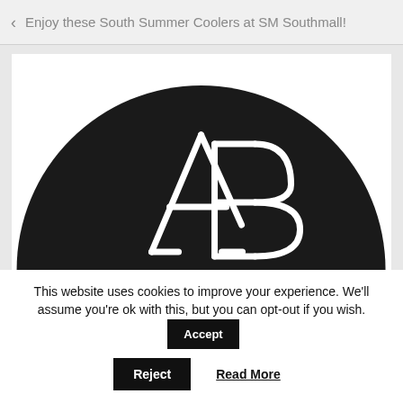Enjoy these South Summer Coolers at SM Southmall!
[Figure (logo): A dark circular logo with interlocked letters A and B in white outline on a black semicircle background, partially visible (upper half shown).]
This website uses cookies to improve your experience. We'll assume you're ok with this, but you can opt-out if you wish.
Accept
Reject
Read More